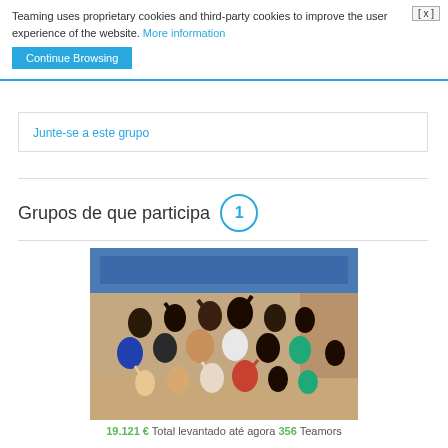Teaming uses proprietary cookies and third-party cookies to improve the user experience of the website. More information
Continue Browsing
Junte-se a este grupo
Grupos de que participa  1
[Figure (photo): Group of African children and adults celebrating outdoors with arms raised, standing in front of a painted wall with a banner]
19.121 € Total levantado até agora  356 Teamers